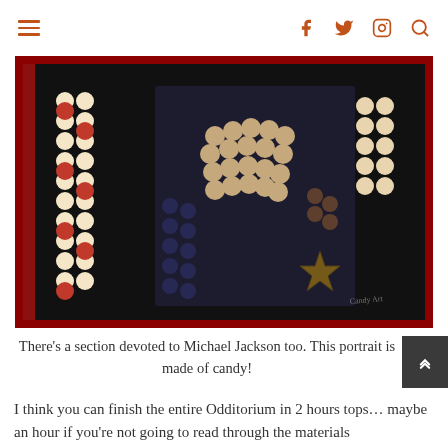≡  f  𝕏  📷  🔍
[Figure (photo): Close-up photograph of a candy portrait artwork depicting Michael Jackson, showing a hand and jacket area made of round candies on a dark background with a red border frame]
There's a section devoted to Michael Jackson too. This portrait is made of candy!
I think you can finish the entire Odditorium in 2 hours tops… maybe an hour if you're not going to read through the materials